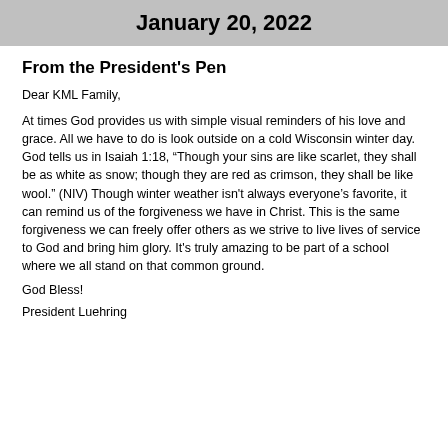January 20, 2022
From the President's Pen
Dear KML Family,
At times God provides us with simple visual reminders of his love and grace. All we have to do is look outside on a cold Wisconsin winter day. God tells us in Isaiah 1:18, “Though your sins are like scarlet, they shall be as white as snow; though they are red as crimson, they shall be like wool.” (NIV) Though winter weather isn't always everyone’s favorite, it can remind us of the forgiveness we have in Christ. This is the same forgiveness we can freely offer others as we strive to live lives of service to God and bring him glory. It's truly amazing to be part of a school where we all stand on that common ground.
God Bless!
President Luehring